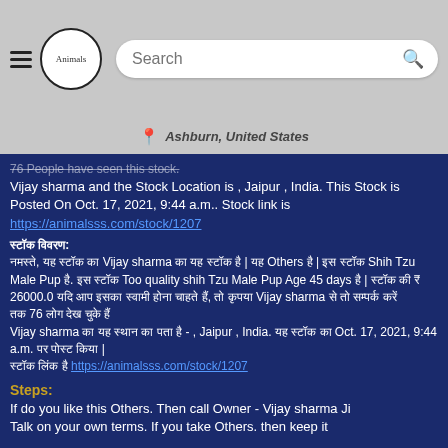[Figure (screenshot): Website header with hamburger menu, Animals logo circle, and search bar on gray background]
Ashburn, United States
76 People have seen this stock. Vijay sharma and the Stock Location is , Jaipur , India. This Stock is Posted On Oct. 17, 2021, 9:44 a.m.. Stock link is https://animalsss.com/stock/1207
स्टॉक विवरण: नमस्ते, यह स्टॉक का Vijay sharma का यह स्टॉक है | यह Others है | इस स्टॉक Shih Tzu Male Pup है. इस स्टॉक Too quality shih Tzu Male Pup Age 45 days है | स्टॉक की ₹ 26000.0 यदि आप इसका स्वामी होना चाहते हैं, तो कृपया Vijay sharma से तो सम्पर्क करें तक 76 लोग देख चुके हैं Vijay sharma का यह स्थान का पता है - , Jaipur , India. यह स्टॉक का Oct. 17, 2021, 9:44 a.m. पर पोस्ट किया | स्टॉक लिंक है https://animalsss.com/stock/1207
Steps:
If do you like this Others. Then call Owner - Vijay sharma Ji
Talk on your own terms. If you take Others. then keep it